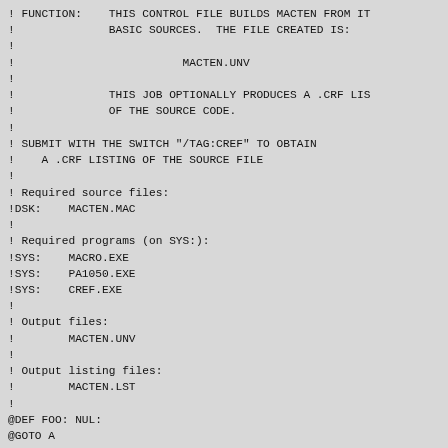! FUNCTION:    THIS CONTROL FILE BUILDS MACTEN FROM IT
!              BASIC SOURCES.  THE FILE CREATED IS:
!
!                         MACTEN.UNV
!
!              THIS JOB OPTIONALLY PRODUCES A .CRF LIS
!              OF THE SOURCE CODE.
!
! SUBMIT WITH THE SWITCH "/TAG:CREF" TO OBTAIN
!    A .CRF LISTING OF THE SOURCE FILE
!
! Required source files:
!DSK:    MACTEN.MAC
!
! Required programs (on SYS:):
!SYS:    MACRO.EXE
!SYS:    PA1050.EXE
!SYS:    CREF.EXE
!
! Output files:
!        MACTEN.UNV
!
! Output listing files:
!        MACTEN.LST
!
@DEF FOO: NUL:
@GOTO A
!
CREF:: @DEF FOO: DSK:
!